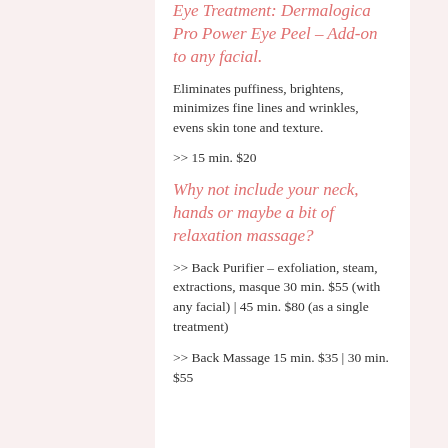Eye Treatment: Dermalogica Pro Power Eye Peel – Add-on to any facial.
Eliminates puffiness, brightens, minimizes fine lines and wrinkles, evens skin tone and texture.
>> 15 min. $20
Why not include your neck, hands or maybe a bit of relaxation massage?
>> Back Purifier – exfoliation, steam, extractions, masque 30 min. $55 (with any facial) | 45 min. $80 (as a single treatment)
>> Back Massage 15 min. $35 | 30 min. $55